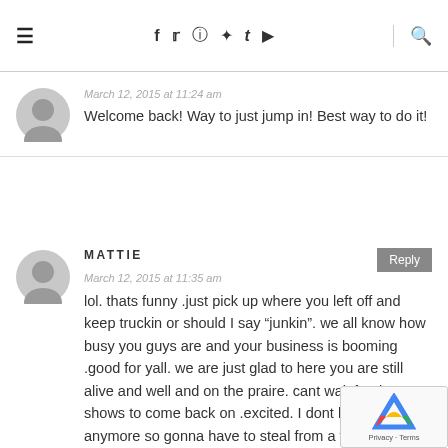≡   f  t  instagram  pinterest  tumblr  youtube   🔍
March 12, 2015 at 11:24 am
Welcome back! Way to just jump in! Best way to do it!
MATTIE
March 12, 2015 at 11:35 am
lol. thats funny .just pick up where you left off and keep truckin or should I say "junkin". we all know how busy you guys are and your business is booming .good for yall. we are just glad to here you are still alive and well and on the praire. cant wait for the shows to come back on .excited. I dont have cable anymore so gonna have to steal from a friend.